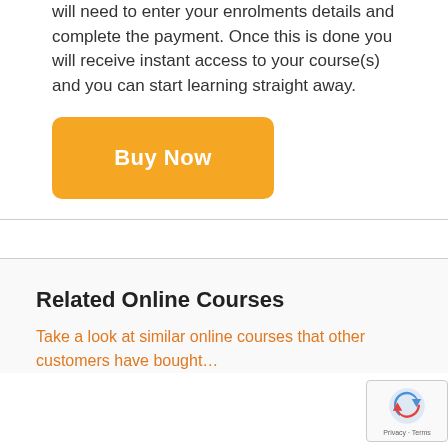will need to enter your enrolments details and complete the payment. Once this is done you will receive instant access to your course(s) and you can start learning straight away.
[Figure (other): Orange rounded button with white bold text reading 'Buy Now']
Related Online Courses
Take a look at similar online courses that other customers have bought…